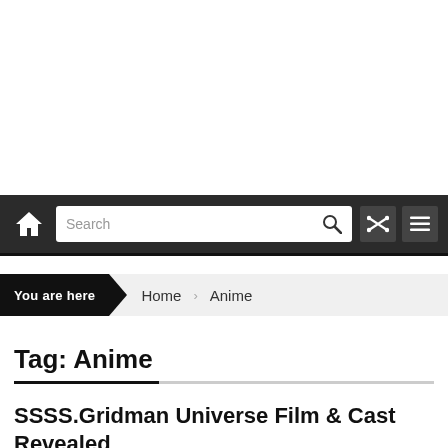Navigation bar with home icon, search box, shuffle and menu icons
You are here  Home  Anime
Tag: Anime
SSSS.Gridman Universe Film & Cast Revealed
August 26, 2022  Pak Hanu